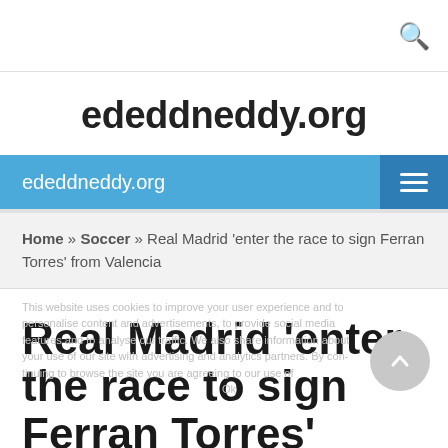ededdneddy.org
ededdneddy.org
Home » Soccer » Real Madrid 'enter the race to sign Ferran Torres' from Valencia
Real Madrid 'enter the race to sign Ferran Torres' from Valencia